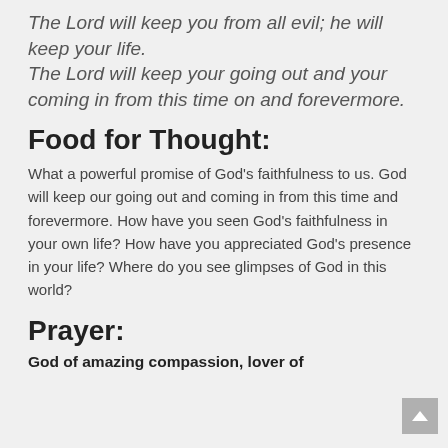The Lord will keep you from all evil; he will keep your life. The Lord will keep your going out and your coming in from this time on and forevermore.
Food for Thought:
What a powerful promise of God's faithfulness to us.  God will keep our going out and coming in from this time and forevermore.  How have you seen God's faithfulness in your own life?  How have you appreciated God's presence in your life?  Where do you see glimpses of God in this world?
Prayer:
God of amazing compassion, lover of